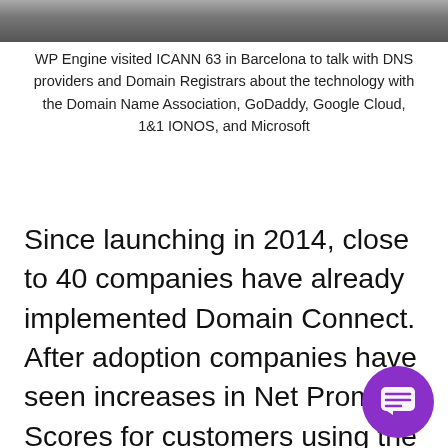[Figure (photo): Partial photo strip showing people, cropped at the top of the page]
WP Engine visited ICANN 63 in Barcelona to talk with DNS providers and Domain Registrars about the technology with the Domain Name Association, GoDaddy, Google Cloud, 1&1 IONOS, and Microsoft
Since launching in 2014, close to 40 companies have already implemented Domain Connect.  After adoption companies have seen increases in Net Promoter Scores for customers using the technology and reduction in support requests related to DNS set up and Domain Mapping.
[Figure (illustration): Purple circular chat bubble icon in the bottom right corner]